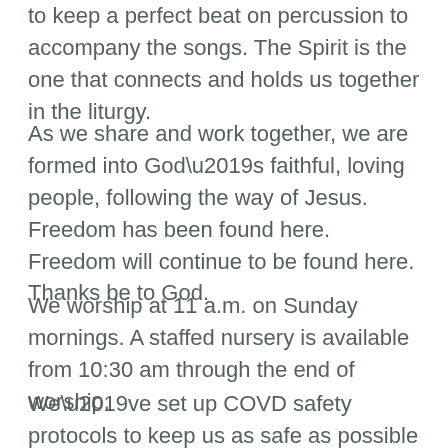to keep a perfect beat on percussion to accompany the songs. The Spirit is the one that connects and holds us together in the liturgy.
As we share and work together, we are formed into God’s faithful, loving people, following the way of Jesus. Freedom has been found here. Freedom will continue to be found here. Thanks be to God.
We worship at 11 a.m. on Sunday mornings. A staffed nursery is available from 10:30 am through the end of worship.
We’ve set up COVD safety protocols to keep us as safe as possible as we worship indoors together. Our protocols include presenting proof